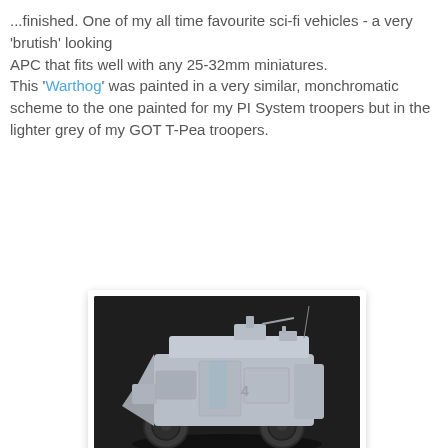...finished. One of my all time favourite sci-fi vehicles - a very 'brutish' looking APC that fits well with any 25-32mm miniatures. This 'Warthog' was painted in a very similar, monchromatic scheme to the one painted for my PI System troopers but in the lighter grey of my GOT T-Pea troopers.
[Figure (photo): A painted sci-fi miniature vehicle - the Warthog APC, an armored personnel carrier in light grey monochromatic scheme with four large wheels, mounted weapon on top, photographed against a dark background.]